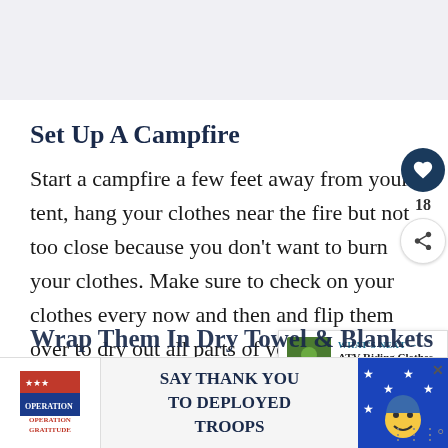[Figure (screenshot): Gray top banner area]
Set Up A Campfire
Start a campfire a few feet away from your tent, hang your clothes near the fire but not too close because you don't want to burn your clothes. Make sure to check on your clothes every now and then and flip them over to dry out all parts of your clo…
Wrap Them In Dry Towel & Blankets
[Figure (infographic): Advertisement banner: Operation Gratitude - SAY THANK YOU TO DEPLOYED TROOPS]